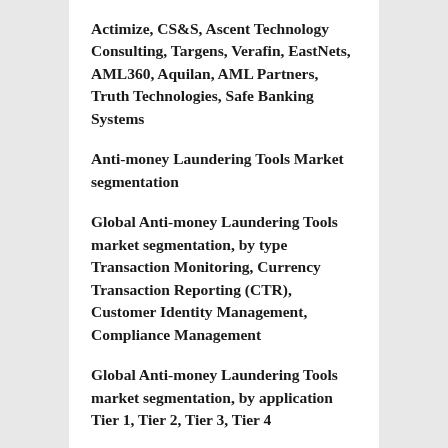Actimize, CS&S, Ascent Technology Consulting, Targens, Verafin, EastNets, AML360, Aquilan, AML Partners, Truth Technologies, Safe Banking Systems
Anti-money Laundering Tools Market segmentation
Global Anti-money Laundering Tools market segmentation, by type Transaction Monitoring, Currency Transaction Reporting (CTR), Customer Identity Management, Compliance Management
Global Anti-money Laundering Tools market segmentation, by application Tier 1, Tier 2, Tier 3, Tier 4